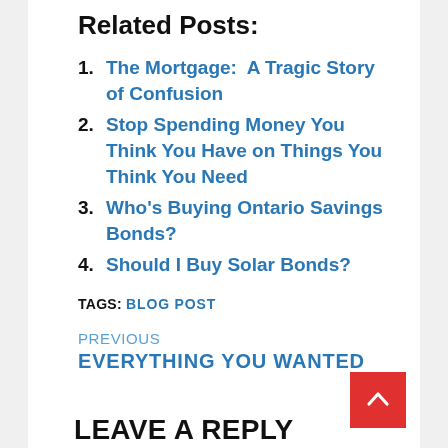Related Posts:
The Mortgage:  A Tragic Story of Confusion
Stop Spending Money You Think You Have on Things You Think You Need
Who's Buying Ontario Savings Bonds?
Should I Buy Solar Bonds?
TAGS: BLOG POST
PREVIOUS
EVERYTHING YOU WANTED TO KNOW ABOUT CREDIT
LEAVE A REPLY